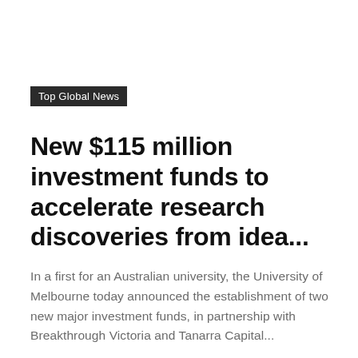Top Global News
New $115 million investment funds to accelerate research discoveries from idea...
In a first for an Australian university, the University of Melbourne today announced the establishment of two new major investment funds, in partnership with Breakthrough Victoria and Tanarra Capital...